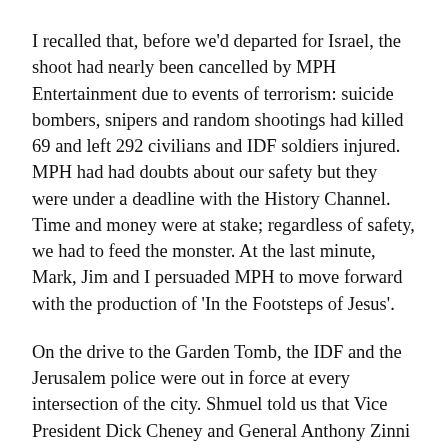I recalled that, before we'd departed for Israel, the shoot had nearly been cancelled by MPH Entertainment due to events of terrorism: suicide bombers, snipers and random shootings had killed 69 and left 292 civilians and IDF soldiers injured. MPH had had doubts about our safety but they were under a deadline with the History Channel. Time and money were at stake; regardless of safety, we had to feed the monster. At the last minute, Mark, Jim and I persuaded MPH to move forward with the production of 'In the Footsteps of Jesus'.
On the drive to the Garden Tomb, the IDF and the Jerusalem police were out in force at every intersection of the city. Shmuel told us that Vice President Dick Cheney and General Anthony Zinni were both in Israel to meet with Israeli Prime Minister Ariel Sharon. Only the day before, a suicide bomber had detonated his bomb on a bus, killing 21 civilians, just minutes after we'd passed